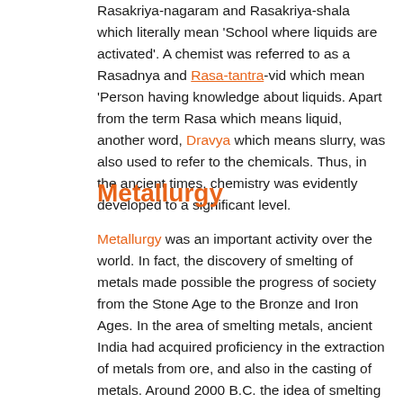Rasakriya-nagaram and Rasakriya-shala which literally mean 'School where liquids are activated'. A chemist was referred to as a Rasadnya and Rasa-tantra-vid which mean 'Person having knowledge about liquids. Apart from the term Rasa which means liquid, another word, Dravya which means slurry, was also used to refer to the chemicals. Thus, in the ancient times, chemistry was evidently developed to a significant level.
Metallurgy
Metallurgy was an important activity over the world. In fact, the discovery of smelting of metals made possible the progress of society from the Stone Age to the Bronze and Iron Ages. In the area of smelting metals, ancient India had acquired proficiency in the extraction of metals from ore, and also in the casting of metals. Around 2000 B.C. the idea of smelting metals was known in Mesopotemia and East near to it. It is generally agreed that the Aryan tribes who are said to have destroyed the Indus Valley civilization had bronze weapons which helped them to overcome the otherwise more advanced people of the Indus cities.